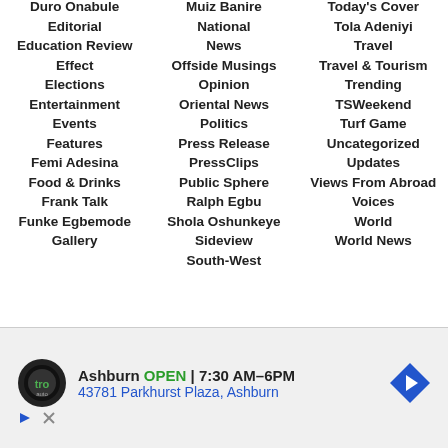Duro Onabule
Editorial
Education Review
Effect
Elections
Entertainment
Events
Features
Femi Adesina
Food & Drinks
Frank Talk
Funke Egbemode
Gallery
Muiz Banire
National
News
Offside Musings
Opinion
Oriental News
Politics
Press Release
PressClips
Public Sphere
Ralph Egbu
Shola Oshunkeye
Sideview
South-West
Today's Cover
Tola Adeniyi
Travel
Travel & Tourism
Trending
TSWeekend
Turf Game
Uncategorized
Updates
Views From Abroad
Voices
World
World News
[Figure (other): Advertisement banner for Tro Auto, Ashburn location, OPEN 7:30 AM-6PM, 43781 Parkhurst Plaza Ashburn]